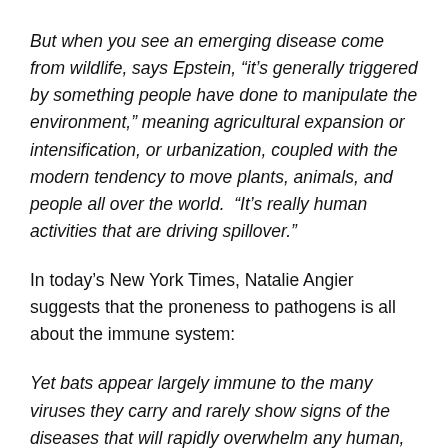But when you see an emerging disease come from wildlife, says Epstein, “it’s generally triggered by something people have done to manipulate the environment,” meaning agricultural expansion or intensification, or urbanization, coupled with the modern tendency to move plants, animals, and people all over the world.  “It’s really human activities that are driving spillover.”
In today’s New York Times, Natalie Angier suggests that the proneness to pathogens is all about the immune system:
Yet bats appear largely immune to the many viruses they carry and rarely show signs of the diseases that will rapidly overwhelm any human, monkey, horse, pig or other